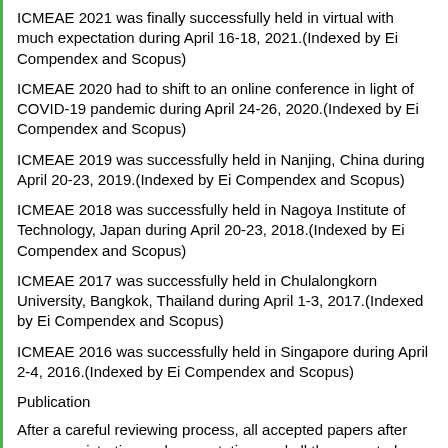ICMEAE 2021 was finally successfully held in virtual with much expectation during April 16-18, 2021.(Indexed by Ei Compendex and Scopus)
ICMEAE 2020 had to shift to an online conference in light of COVID-19 pandemic during April 24-26, 2020.(Indexed by Ei Compendex and Scopus)
ICMEAE 2019 was successfully held in Nanjing, China during April 20-23, 2019.(Indexed by Ei Compendex and Scopus)
ICMEAE 2018 was successfully held in Nagoya Institute of Technology, Japan during April 20-23, 2018.(Indexed by Ei Compendex and Scopus)
ICMEAE 2017 was successfully held in Chulalongkorn University, Bangkok, Thailand during April 1-3, 2017.(Indexed by Ei Compendex and Scopus)
ICMEAE 2016 was successfully held in Singapore during April 2-4, 2016.(Indexed by Ei Compendex and Scopus)
Publication
After a careful reviewing process, all accepted papers after proper registration and presentation, and all the accepted papers of ICMEAE will be published in Conference Proceedings as a special chapter, which will be indexed by Ei Compendex and